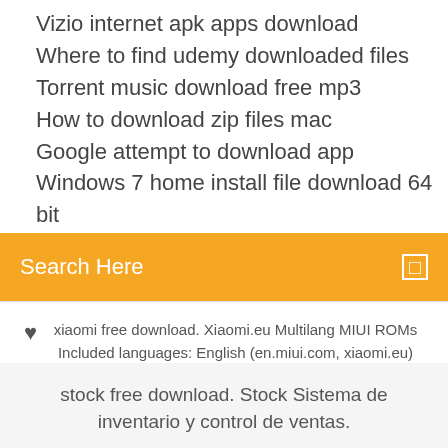Vizio internet apk apps download
Where to find udemy downloaded files
Torrent music download free mp3
How to download zip files mac
Google attempt to download app
Windows 7 home install file download 64 bit
Search Here
xiaomi free download. Xiaomi.eu Multilang MIUI ROMs Included languages: English (en.miui.com, xiaomi.eu) Chinese (miui.com) Polish (Acid, miuipolska.pl)
stock free download. Stock Sistema de inventario y control de ventas.